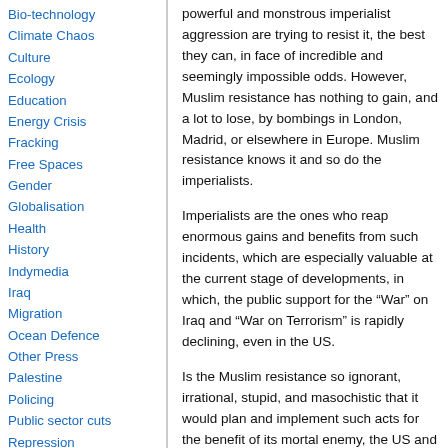Bio-technology
Climate Chaos
Culture
Ecology
Education
Energy Crisis
Fracking
Free Spaces
Gender
Globalisation
Health
History
Indymedia
Iraq
Migration
Ocean Defence
Other Press
Palestine
Policing
Public sector cuts
Repression
Social Struggles
Technology
Terror War
powerful and monstrous imperialist aggression are trying to resist it, the best they can, in face of incredible and seemingly impossible odds. However, Muslim resistance has nothing to gain, and a lot to lose, by bombings in London, Madrid, or elsewhere in Europe. Muslim resistance knows it and so do the imperialists.
Imperialists are the ones who reap enormous gains and benefits from such incidents, which are especially valuable at the current stage of developments, in which, the public support for the “War” on Iraq and “War on Terrorism” is rapidly declining, even in the US.
Is the Muslim resistance so ignorant, irrational, stupid, and masochistic that it would plan and implement such acts for the benefit of its mortal enemy, the US and British imperialism? Highly unlikely, almost impossible. If anyone